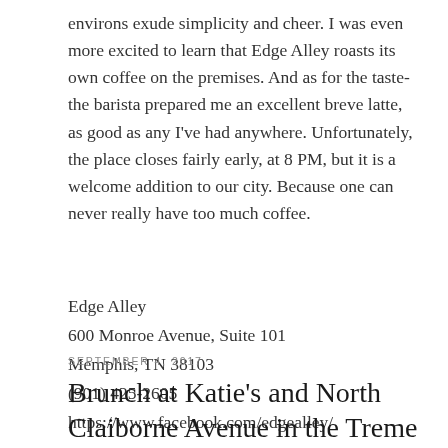environs exude simplicity and cheer. I was even more excited to learn that Edge Alley roasts its own coffee on the premises. And as for the taste-the barista prepared me an excellent breve latte, as good as any I've had anywhere. Unfortunately, the place closes fairly early, at 8 PM, but it is a welcome addition to our city. Because one can never really have too much coffee.
Edge Alley
600 Monroe Avenue, Suite 101
Memphis, TN 38103
(901) 425-2605
https://www.facebook.com/edgealley/
SEPTEMBER 4, 2017
Brunch at Katie's and North Claiborne Avenue in the Treme